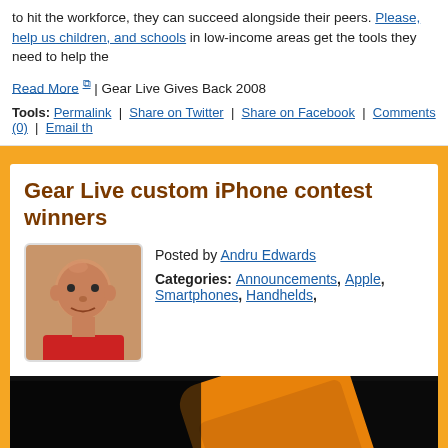to hit the workforce, they can succeed alongside their peers. Please, help us children, and schools in low-income areas get the tools they need to help the
Read More | Gear Live Gives Back 2008
Tools: Permalink | Share on Twitter | Share on Facebook | Comments (0) | Email th
Gear Live custom iPhone contest winners
Posted by Andru Edwards
Categories: Announcements, Apple, Smartphones, Handhelds,
[Figure (photo): Photo of an orange custom iPhone with the Apple logo visible, placed on a dark background. The bottom of the image shows partial 'GE' text in orange/yellow.]